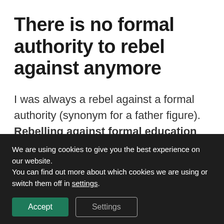There is no formal authority to rebel against anymore
I was always a rebel against a formal authority (synonym for a father figure). Rebelling against formal education was a handy way for me to vent. It’s so easy
We are using cookies to give you the best experience on our website.
You can find out more about which cookies we are using or switch them off in settings.
Accept  Settings